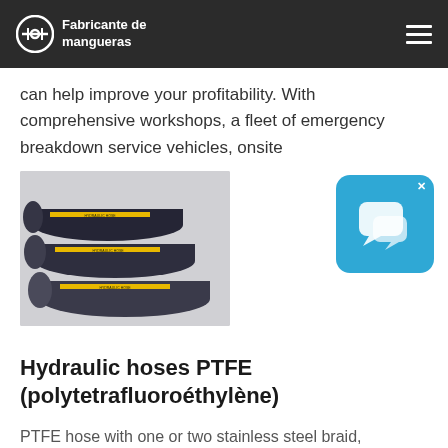Fabricante de mangueras
can help improve your profitability. With comprehensive workshops, a fleet of emergency breakdown service vehicles, onsite
[Figure (photo): Three dark blue/grey hydraulic hoses with yellow stripe labels stacked together, photographed on a light grey background.]
[Figure (other): Blue chat/messaging widget icon with two speech bubbles and an X close button in the top-right corner.]
Hydraulic hoses PTFE (polytetrafluoroéthylène)
PTFE hose with one or two stainless steel braid, Convoluted PTFE hose with one stainless steel braid, The